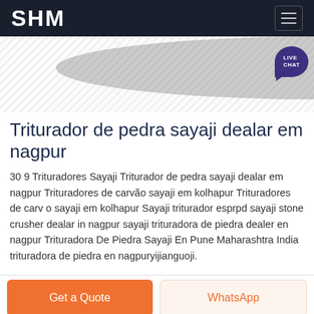SHM
[Figure (photo): Quarry or stone crushing site with machinery and rocks visible, with a 'LIVE CHAT' bubble overlay in top right]
Triturador de pedra sayaji dealar em nagpur
30 9 Trituradores Sayaji Triturador de pedra sayaji dealar em nagpur Trituradores de carvão sayaji em kolhapur Trituradores de carv o sayaji em kolhapur Sayaji triturador esprpd sayaji stone crusher dealar in nagpur sayaji trituradora de piedra dealer en nagpur Trituradora De Piedra Sayaji En Pune Maharashtra India trituradora de piedra en nagpuryijianguoji.
Get a Quote
WhatsApp